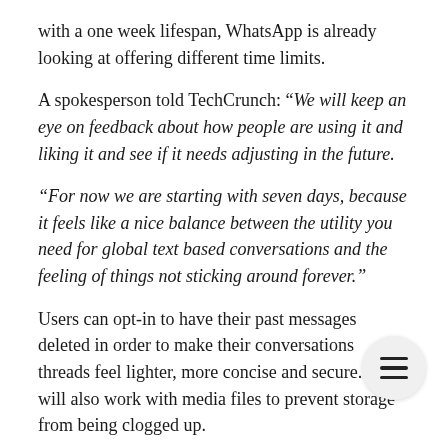with a one week lifespan, WhatsApp is already looking at offering different time limits.
A spokesperson told TechCrunch: “We will keep an eye on feedback about how people are using it and liking it and see if it needs adjusting in the future.
“For now we are starting with seven days, because it feels like a nice balance between the utility you need for global text based conversations and the feeling of things not sticking around forever.”
Users can opt-in to have their past messages deleted in order to make their conversations threads feel lighter, more concise and secure. It will also work with media files to prevent storage from being clogged up.
Admin members of group chats also have the power to enable the feature for their mass conversations.
The service has recently hit the milestone of over 100 billion...